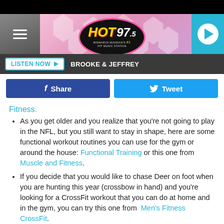[Figure (screenshot): HOT 97.5 Bismarck Mandan #1 Hit Music Station radio website header with logo, hamburger menu, and play button]
LISTEN NOW   BROOKE & JEFFREY
[Figure (other): Facebook Share and Twitter Tweet social sharing buttons]
Fitness.
As you get older and you realize that you're not going to play in the NFL, but you still want to stay in shape, here are some functional workout routines you can use for the gym or around the house: Functional Training or this one from Muscle and Fitness.
If you decide that you would like to chase Deer on foot when you are hunting this year (crossbow in hand) and you're looking for a CrossFit workout that you can do at home and in the gym, you can try this one from  Men's Fitness CrossFit.